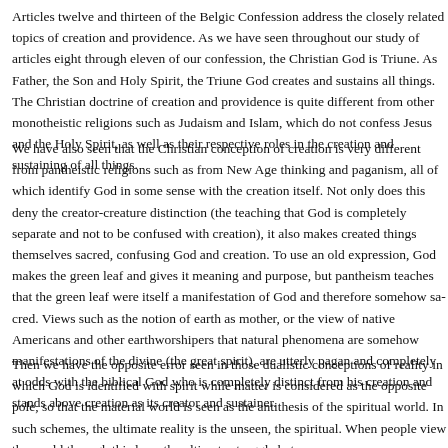Articles twelve and thirteen of the Belgic Confession address the closely related topics of creation and providence. As we have seen throughout our study of articles eight through eleven of our confession, the Christian God is Triune. As Father, the Son and Holy Spirit, the Triune God creates and sustains all things. The Christian doctrine of creation and providence is quite different from other monotheistic religions such as Judaism and Islam, which do not confess Jesus and the Holy Spirit, as well as their respective roles in the creation and sustaining of all things.
We have also seen that the Christian conception of creation is very different from pantheistic religions such as from New Age thinking and paganism, all of which identify God in some sense with the creation itself. Not only does this deny the creator-creature distinction (the teaching that God is completely separate and not to be confused with creation), it also makes created things themselves sacred, confusing God and creation. To use an old expression, God makes the green leaf and gives it meaning and purpose, but pantheism teaches that the green leaf were itself a manifestation of God and therefore somehow sacred. Views such as the notion of earth as mother, or the view of native Americans and other earthworshipers that natural phenomena are somehow manifestations of the divine (the great spirit), are utterly pagan and completely at odds with the biblical God who is completely distinct from his creation and stands above creation as its creator and sustainer.
Then we have the opposite error seen in those dualistic conceptions of reality in which God is identified with spirit while matter is considered as the opposite pole, so that the material world is seen as the antithesis of the spiritual world. In such schemes, the ultimate reality is the unseen, the spiritual. When people view the world through this lens, the ultimate struggle between...